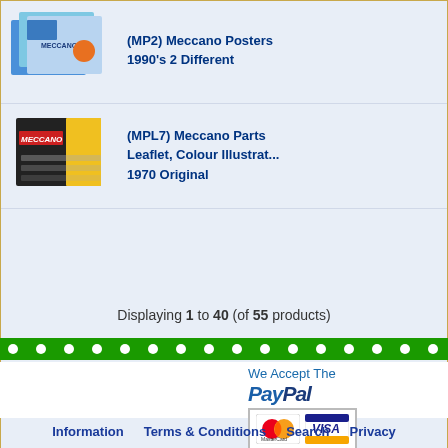[Figure (screenshot): Product image: Meccano Posters 1990s 2 Different - colorful poster cards]
(MP2) Meccano Posters 1990's 2 Different
[Figure (screenshot): Product image: Meccano Parts Leaflet, Colour Illustrated, 1970 Original]
(MPL7) Meccano Parts Leaflet, Colour Illustrated, 1970 Original
Displaying 1 to 40 (of 55 products)
[Figure (other): Green decorative bar with white dots]
We Accept The
[Figure (logo): PayPal logo with MasterCard and Visa card logos]
Information   Terms & Conditions   Search   Privacy